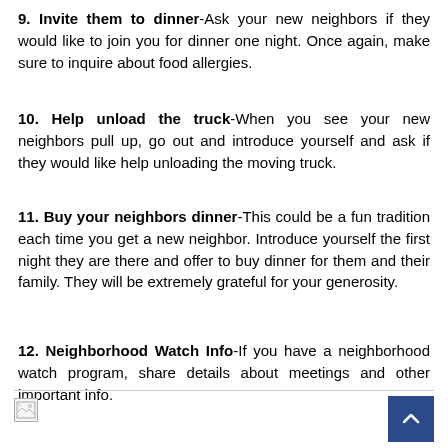9. Invite them to dinner-Ask your new neighbors if they would like to join you for dinner one night. Once again, make sure to inquire about food allergies.
10. Help unload the truck-When you see your new neighbors pull up, go out and introduce yourself and ask if they would like help unloading the moving truck.
11. Buy your neighbors dinner-This could be a fun tradition each time you get a new neighbor. Introduce yourself the first night they are there and offer to buy dinner for them and their family. They will be extremely grateful for your generosity.
12. Neighborhood Watch Info-If you have a neighborhood watch program, share details about meetings and other important info.
[Figure (other): Footer bar with broken image icon on the left and a dark blue scroll-to-top button with an upward chevron arrow on the right.]